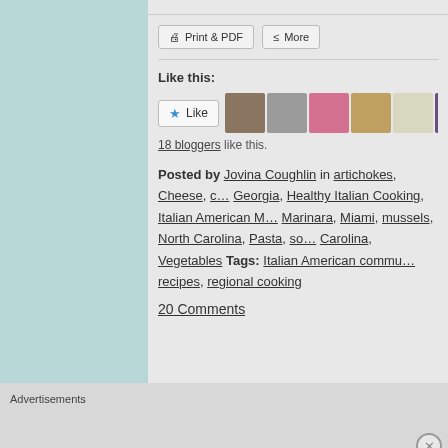Print & PDF   More
Like this:
Like  [18 blogger avatars]
18 bloggers like this.
Posted by Jovina Coughlin in artichokes, Cheese, c… Georgia, Healthy Italian Cooking, Italian American M… Marinara, Miami, mussels, North Carolina, Pasta, so… Carolina, Vegetables Tags: Italian American commu… recipes, regional cooking
20 Comments
Advertisements